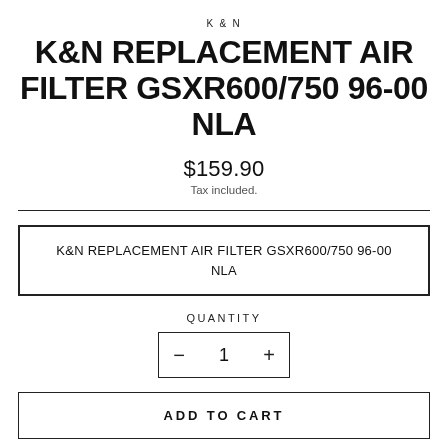K & N
K&N REPLACEMENT AIR FILTER GSXR600/750 96-00 NLA
$159.90
Tax included.
K&N REPLACEMENT AIR FILTER GSXR600/750 96-00 NLA
QUANTITY
- 1 +
ADD TO CART